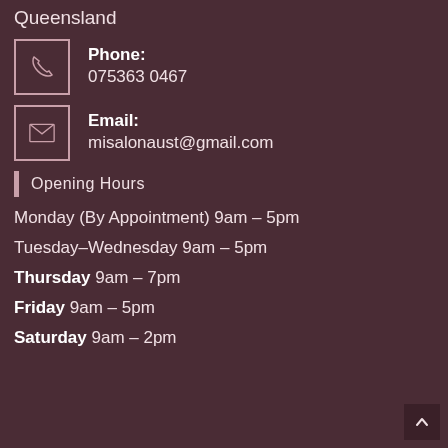Queensland
Phone: 075363 0467
Email: misalonaust@gmail.com
Opening Hours
Monday (By Appointment) 9am – 5pm
Tuesday–Wednesday 9am – 5pm
Thursday 9am – 7pm
Friday 9am – 5pm
Saturday 9am – 2pm